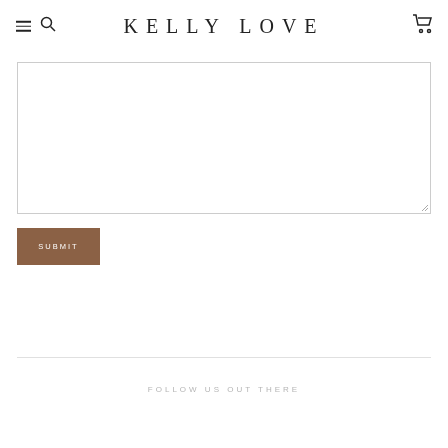KELLY LOVE
[Figure (screenshot): Large empty textarea input field with resize handle in bottom right corner]
SUBMIT
FOLLOW US OUT THERE